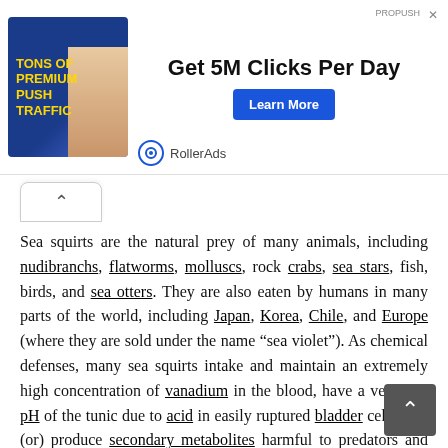[Figure (other): Advertisement banner: image of woman with 'TONS OF PREMIUM PUSH TRAFFIC' text on left, 'Get 5M Clicks Per Day' heading in center, 'Learn More' blue button on right, RollerAds logo below]
Sea squirts are the natural prey of many animals, including nudibranchs, flatworms, molluscs, rock crabs, sea stars, fish, birds, and sea otters. They are also eaten by humans in many parts of the world, including Japan, Korea, Chile, and Europe (where they are sold under the name “sea violet”). As chemical defenses, many sea squirts intake and maintain an extremely high concentration of vanadium in the blood, have a very low pH of the tunic due to acid in easily ruptured bladder cells, and (or) produce secondary metabolites harmful to predators and invaders.[14] Some of these metabolites are toxic to cells and are of potential use in pharmaceuticals.